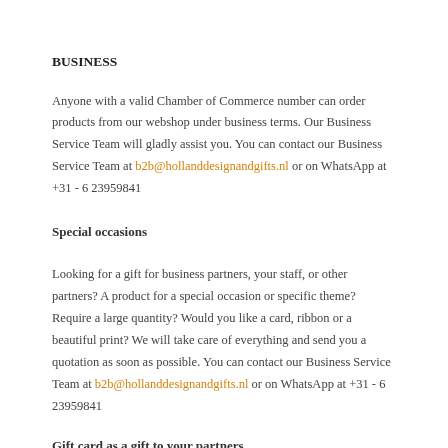BUSINESS
Anyone with a valid Chamber of Commerce number can order products from our webshop under business terms. Our Business Service Team will gladly assist you. You can contact our Business Service Team at b2b@hollanddesignandgifts.nl or on WhatsApp at +31 - 6 23959841
Special occasions
Looking for a gift for business partners, your staff, or other partners? A product for a special occasion or specific theme? Require a large quantity? Would you like a card, ribbon or a beautiful print? We will take care of everything and send you a quotation as soon as possible. You can contact our Business Service Team at b2b@hollanddesignandgifts.nl or on WhatsApp at +31 - 6 23959841
Gift card as a gift to your partners